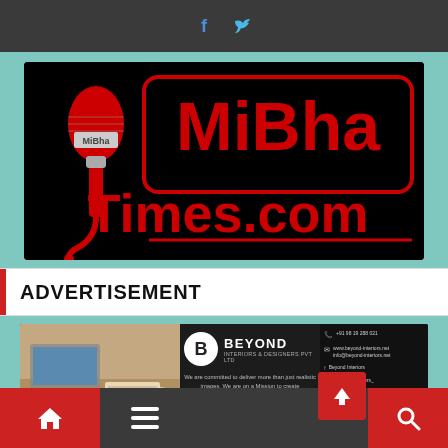Facebook Twitter social icons
[Figure (logo): MiBha Times.com logo - red text on black background with microphone illustration]
ADVERTISEMENT
[Figure (photo): Beyond Interiors & Designers Pvt Ltd advertisement banner with office photo and contact details]
Home menu navigation bar with home icon, menu icon, up arrow, and search icon